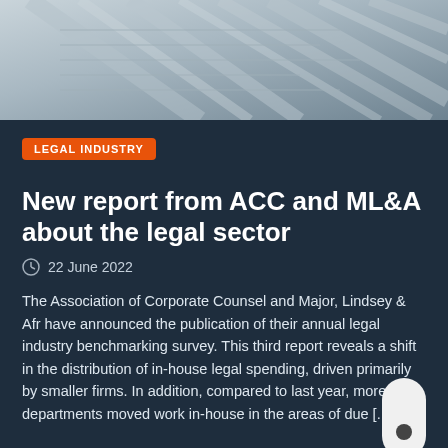[Figure (photo): Close-up photo of document pages with diagonal lines, dark blue-gray toned]
LEGAL INDUSTRY
New report from ACC and ML&A about the legal sector
22 June 2022
The Association of Corporate Counsel and Major, Lindsey & Afr have announced the publication of their annual legal industry benchmarking survey. This third report reveals a shift in the distribution of in-house legal spending, driven primarily by smaller firms. In addition, compared to last year, more departments moved work in-house in the areas of due [...]
1 2 3 ... 172 →